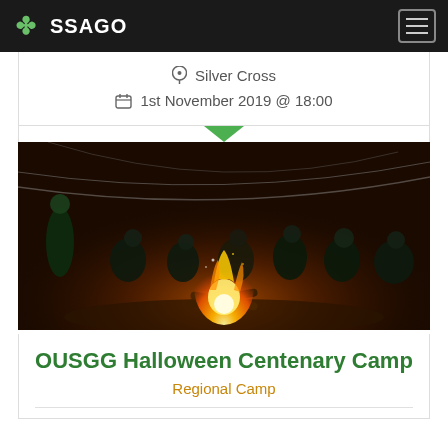SSAGO
Silver Cross
1st November 2019 @ 18:00
[Figure (photo): Group of people sitting around a campfire at night under a canopy shelter, wearing green t-shirts]
OUSGG Halloween Centenary Camp
Regional Camp